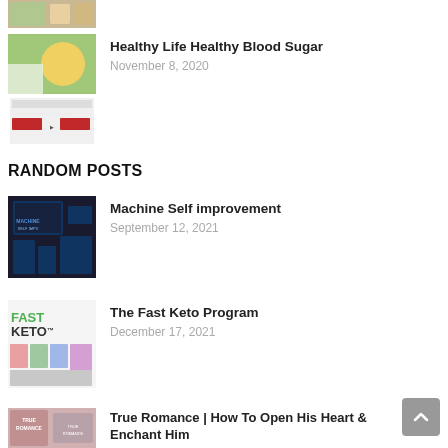[Figure (photo): Thumbnail image of food/health products at top, partially cropped]
[Figure (photo): Thumbnail image for Healthy Life Healthy Blood Sugar post]
Healthy Life Healthy Blood Sugar
November 8, 2020
RANDOM POSTS
[Figure (photo): Thumbnail image for Machine Self improvement post - dark background with devices]
Machine Self improvement
September 12, 2021
[Figure (photo): Thumbnail image for The Fast Keto Program - shows FAST KETO logo and book covers]
The Fast Keto Program
December 17, 2021
[Figure (photo): Thumbnail image for True Romance post]
True Romance | How To Open His Heart & Enchant Him
December 17, 2021